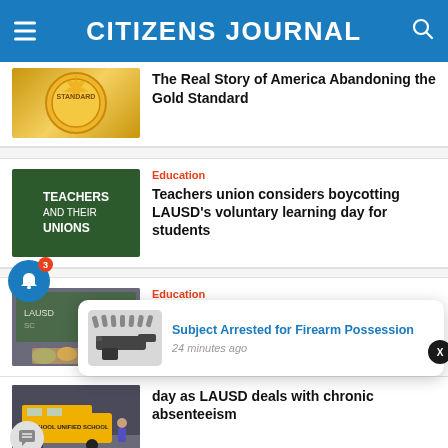CITIZENS JOURNAL
The Real Story of America Abandoning the Gold Standard
Education
Teachers union considers boycotting LAUSD's voluntary learning day for students
Education
School Board Races Emerge As GOP Election Focus
[Figure (screenshot): Notification popup: Subject Arrested for Firearm Possession, 24 minutes ago]
day as LAUSD deals with chronic absenteeism